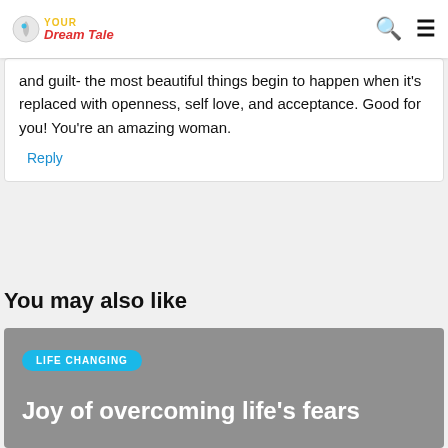YOUR Dream Tale
and guilt- the most beautiful things begin to happen when it's replaced with openness, self love, and acceptance. Good for you! You're an amazing woman.
Reply
You may also like
[Figure (other): Article card with gray background, 'LIFE CHANGING' badge, and title 'Joy of overcoming life's fears']